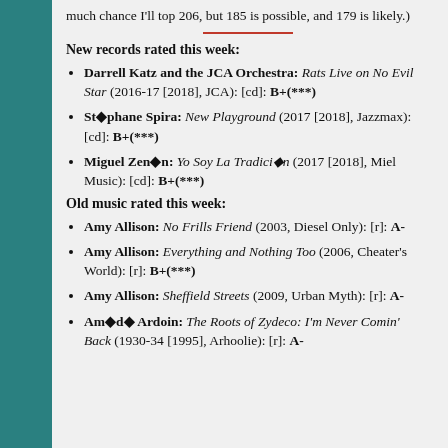much chance I'll top 206, but 185 is possible, and 179 is likely.)
New records rated this week:
Darrell Katz and the JCA Orchestra: Rats Live on No Evil Star (2016-17 [2018], JCA): [cd]: B+(***)
St◆phane Spira: New Playground (2017 [2018], Jazzmax): [cd]: B+(***)
Miguel Zen◆n: Yo Soy La Tradici◆n (2017 [2018], Miel Music): [cd]: B+(***)
Old music rated this week:
Amy Allison: No Frills Friend (2003, Diesel Only): [r]: A-
Amy Allison: Everything and Nothing Too (2006, Cheater's World): [r]: B+(***)
Amy Allison: Sheffield Streets (2009, Urban Myth): [r]: A-
Am◆d◆ Ardoin: The Roots of Zydeco: I'm Never Comin' Back (1930-34 [1995], Arhoolie): [r]: A-